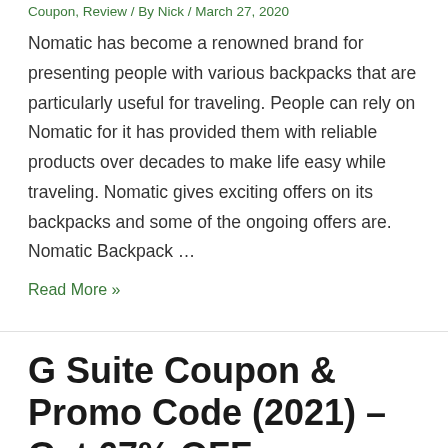Coupon, Review / By Nick / March 27, 2020
Nomatic has become a renowned brand for presenting people with various backpacks that are particularly useful for traveling. People can rely on Nomatic for it has provided them with reliable products over decades to make life easy while traveling. Nomatic gives exciting offers on its backpacks and some of the ongoing offers are. Nomatic Backpack …
Read More »
G Suite Coupon & Promo Code (2021) – Get 67% OFF
Coupon / By Nick / January 3, 2020